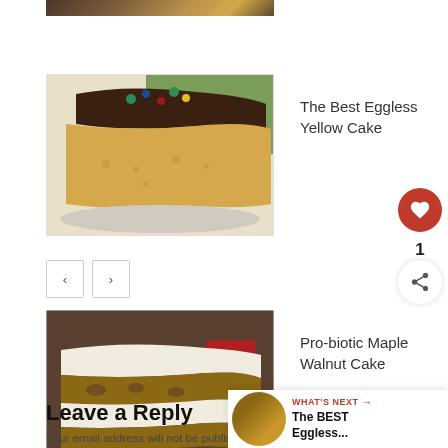[Figure (photo): Partial bottom edge of a dark chocolate cake photo at top of page]
[Figure (photo): Slice of yellow cake with chocolate frosting and colorful sprinkles on top]
The Best Eggless Yellow Cake
[Figure (photo): Layered maple walnut cake with cream frosting on a plate]
Pro-biotic Maple Walnut Cake
[Figure (other): Pagination buttons with left and right arrows]
Leave a Reply
Your email address will not be published. Required fields are marked *
Comment *